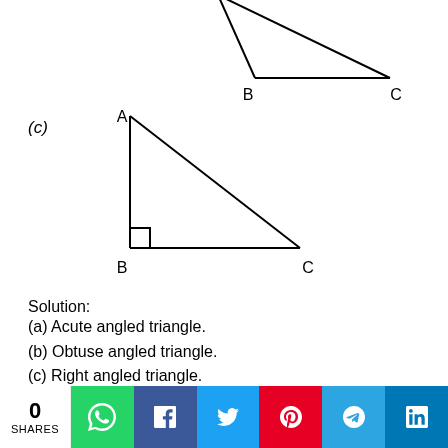[Figure (engineering-diagram): Triangle (b) with vertices, obtuse angle at B, with labels B at bottom-left and C at bottom-right, cut off at top]
(c)
[Figure (engineering-diagram): Right-angled triangle (c) with vertex A at top-left, right angle at B (bottom-left), and C at bottom-right. Right angle marked with small square at B.]
Solution:
(a) Acute angled triangle.
(b) Obtuse angled triangle.
(c) Right angled triangle.
Question 10.
What are the types of the following triangles on the basis
0 SHARES | WhatsApp | Facebook | Twitter | Pinterest | Telegram | LinkedIn